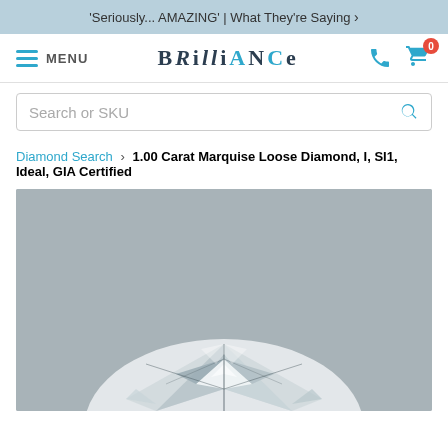'Seriously... AMAZING' | What They're Saying ›
[Figure (logo): Brilliance jewelry website navigation bar with hamburger menu, BRILLIANCE logo, phone icon, and cart icon with badge showing 0]
Search or SKU
Diamond Search › 1.00 Carat Marquise Loose Diamond, I, SI1, Ideal, GIA Certified
[Figure (photo): Close-up photo of a marquise cut loose diamond showing facets and brilliance against a grey background. The bottom portion of the diamond is visible with light reflecting off the facets.]